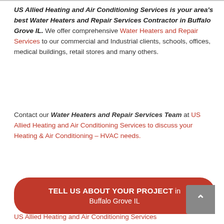US Allied Heating and Air Conditioning Services is your area's best Water Heaters and Repair Services Contractor in Buffalo Grove IL. We offer comprehensive Water Heaters and Repair Services to our commercial and Industrial clients, schools, offices, medical buildings, retail stores and many others.
Contact our Water Heaters and Repair Services Team at US Allied Heating and Air Conditioning Services to discuss your Heating & Air Conditioning – HVAC needs.
TELL US ABOUT YOUR PROJECT in Buffalo Grove IL
US Allied Heating and Air Conditioning Services